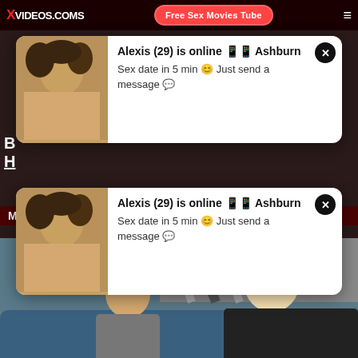XVIDEOS.COMS | Free Sex Movies Tube
[Figure (screenshot): Popup notification card 1: thumbnail of woman on left, text 'Alexis (29) is online in Ashburn - Sex date in 5 min :) Just send a message' with close X button]
Mecum Porn
[Figure (screenshot): Popup notification card 2: same thumbnail, text 'Alexis (29) is online in Ashburn - Sex date in 5 min :) Just send a message' with close X button]
[Figure (photo): Video thumbnail showing two people on a blue couch, duration 6:15, BIGBO label]